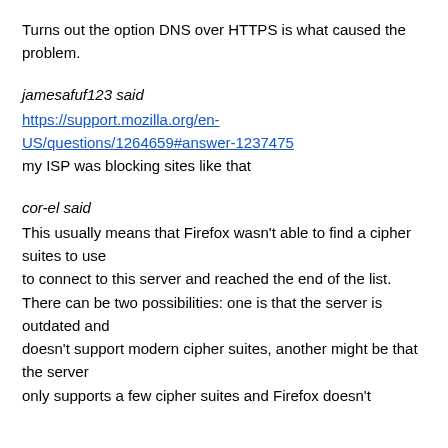Turns out the option DNS over HTTPS is what caused the problem.
jamesafuf123 said
https://support.mozilla.org/en-US/questions/1264659#answer-1237475
my ISP was blocking sites like that
cor-el said
This usually means that Firefox wasn't able to find a cipher suites to use
to connect to this server and reached the end of the list.
There can be two possibilities: one is that the server is outdated and
doesn't support modern cipher suites, another might be that the server
only supports a few cipher suites and Firefox doesn't